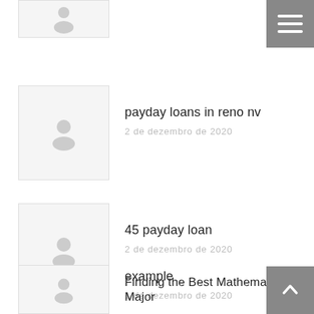[Figure (screenshot): Partial blog post thumbnail at top — placeholder image with person icon]
[Figure (screenshot): Hamburger menu button, grey square top-right with three white horizontal lines]
payday loans in reno nv
2 de dezembro de 2020
45 payday loan
2 de dezembro de 2020
example
1 de dezembro de 2020
Finding the Best Mathematics Major
[Figure (screenshot): Scroll-to-top button, grey square bottom-right with white upward arrow]